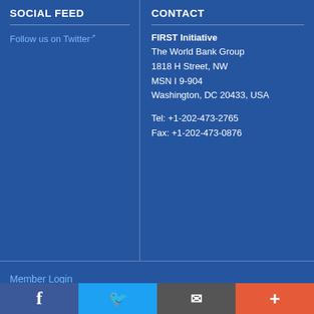SOCIAL FEED
Follow us on Twitter
CONTACT
FIRST Initiative
The World Bank Group
1818 H Street, NW
MSN I 9-904
Washington, DC 20433, USA

Tel: +1-202-473-2765
Fax: +1-202-473-0876
Member Login
© 2015 FIRST. All Rights Reserved. | Legal